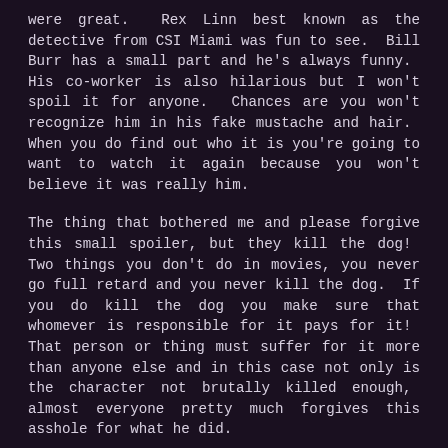were great.  Rex Linn best known as the detective from CSI Miami was fun to see.  Bill Burr has a small part and he's always funny.  His co-worker is also hilarious but I won't spoil it for anyone.  Chances are you won't recognize him in his fake mustache and hair.  When you do find out who it is you're going to want to watch it again because you won't believe it was really him.
The thing that bothered me and please forgive this small spoiler, but they kill the dog!  Two things you don't do in movies, you never go full retard and you never kill the dog.  If you do kill the dog you make sure that whomever is responsible for it pays for it!  That person or thing must suffer for it more than anyone else and in this case not only is the character not brutally killed enough,  almost everyone pretty much forgives this asshole for what he did.